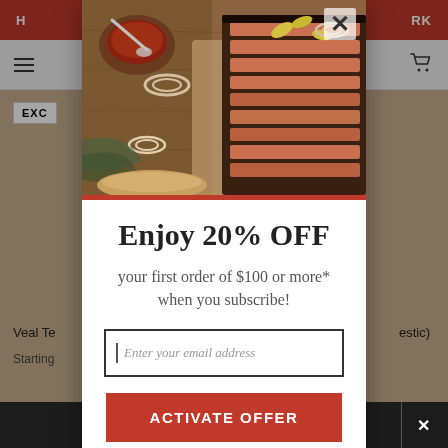[Figure (screenshot): Website background showing red top navigation bar, hamburger menu, shopping cart, product area with wooden background and 'EXC' badge, bottom dark bar with X button. Overlaid with semi-transparent dark dim.]
[Figure (photo): Food photo showing sliced BBQ brisket on a wooden cutting board with sauce, onion rings, and pickled peppers.]
Enjoy 20% OFF
your first order of $100 or more* when you subscribe!
Enter your email address
ACTIVATE OFFER